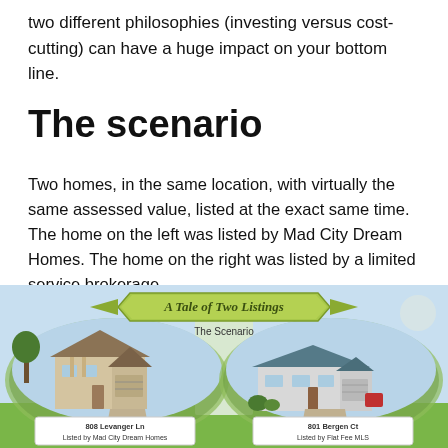two different philosophies (investing versus cost-cutting) can have a huge impact on your bottom line.
The scenario
Two homes, in the same location, with virtually the same assessed value, listed at the exact same time. The home on the left was listed by Mad City Dream Homes. The home on the right was listed by a limited service brokerage.
[Figure (infographic): A Tale of Two Listings infographic showing two house photos side by side. Left: 808 Levanger Ln, Listed by Mad City Dream Homes. Right: 801 Bergen Ct, Listed by Flat Fee MLS. Banner reads 'A Tale of Two Listings' and subtitle 'The Scenario'.]